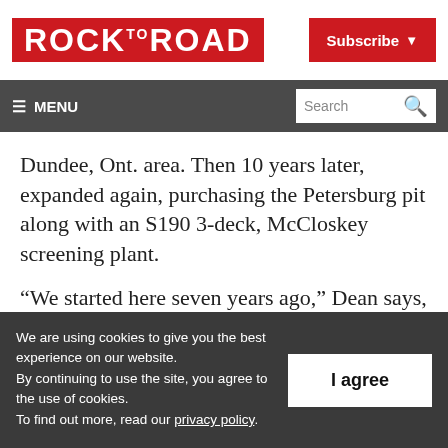ROCK TO ROAD | Subscribe
MENU | Search
Dundee, Ont. area. Then 10 years later, expanded again, purchasing the Petersburg pit along with an S190 3-deck, McCloskey screening plant.
“We started here seven years ago,” Dean says,
We are using cookies to give you the best experience on our website. By continuing to use the site, you agree to the use of cookies. To find out more, read our privacy policy.